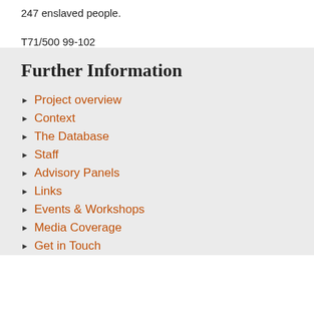247 enslaved people.
T71/500 99-102
Further Information
Project overview
Context
The Database
Staff
Advisory Panels
Links
Events & Workshops
Media Coverage
Get in Touch